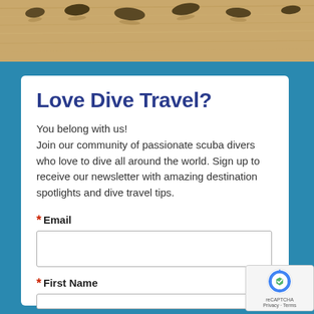[Figure (photo): Beach sand texture with small objects/shells at the top of the page]
Love Dive Travel?
You belong with us! Join our community of passionate scuba divers who love to dive all around the world. Sign up to receive our newsletter with amazing destination spotlights and dive travel tips.
* Email
* First Name